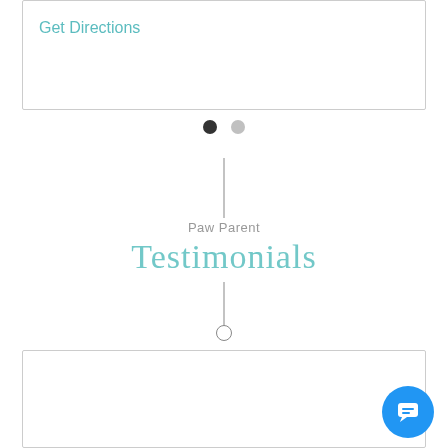Get Directions
[Figure (other): Pagination dots: one dark filled circle and one light gray circle]
Paw Parent
Testimonials
[Figure (other): Decorative large teal double quotation marks inside a testimonial card]
I've been bringing my dog here for four years and I